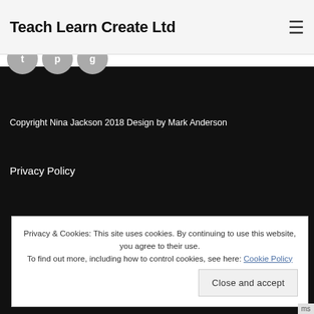Teach Learn Create Ltd
Copyright Nina Jackson 2018 Design by Mark Anderson
Privacy Policy
Privacy & Cookies: This site uses cookies. By continuing to use this website, you agree to their use.
To find out more, including how to control cookies, see here: Cookie Policy